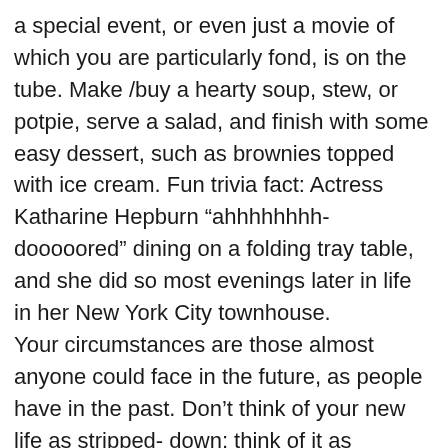a special event, or even just a movie of which you are particularly fond, is on the tube. Make /buy a hearty soup, stew, or potpie, serve a salad, and finish with some easy dessert, such as brownies topped with ice cream. Fun trivia fact: Actress Katharine Hepburn “ahhhhhhhh-dooooored” dining on a folding tray table, and she did so most evenings later in life in her New York City townhouse. Your circumstances are those almost anyone could face in the future, as people have in the past. Don’t think of your new life as stripped- down; think of it as beautifully simplified. “Long ago in 1945, all the nice people in England were poor, allowing for exceptions . . .” begins The Girls of Slender Means, by Dame Muriel Spark. Now that is a great short novel, written by the author of The